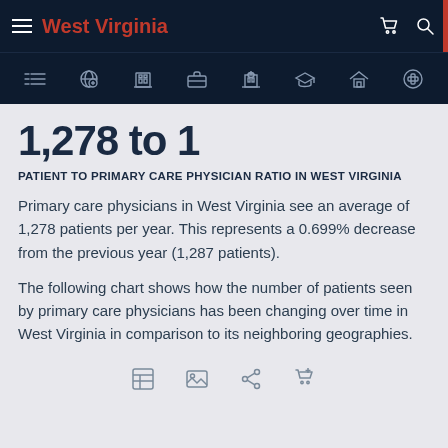West Virginia
1,278 to 1
PATIENT TO PRIMARY CARE PHYSICIAN RATIO IN WEST VIRGINIA
Primary care physicians in West Virginia see an average of 1,278 patients per year. This represents a 0.699% decrease from the previous year (1,287 patients).
The following chart shows how the number of patients seen by primary care physicians has been changing over time in West Virginia in comparison to its neighboring geographies.